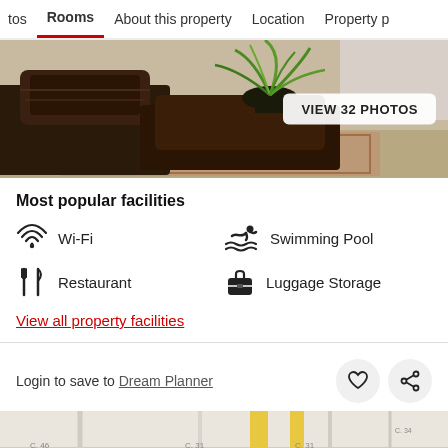tos  Rooms  About this property  Location  Property p
[Figure (photo): Hotel lobby photo showing dark wood furniture, a plant, and a rug. Button overlay reads 'VIEW 32 PHOTOS']
Most popular facilities
Wi-Fi
Swimming Pool
Restaurant
Luggage Storage
View all property facilities
Login to save to Dream Planner
[Figure (map): Street map showing intersections with labels C.46, C.31, C.34, C.05]